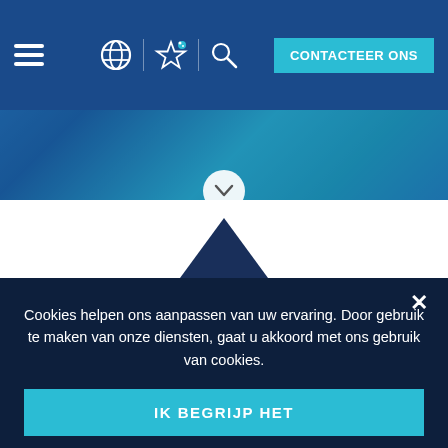[Figure (screenshot): Website navigation bar with hamburger menu, globe icon, star icon, search icon, and 'CONTACTEER ONS' button on dark blue background]
[Figure (photo): Hero background image showing a blue swimming pool area, partially visible under the dark blue overlay]
[Figure (illustration): Dark navy blue triangle/chevron pointing upward with a bubble/pool icon inside, in the middle white section of the page]
Cookies helpen ons aanpassen van uw ervaring. Door gebruik te maken van onze diensten, gaat u akkoord met ons gebruik van cookies.
IK BEGRIJP HET
Kom meer te weten